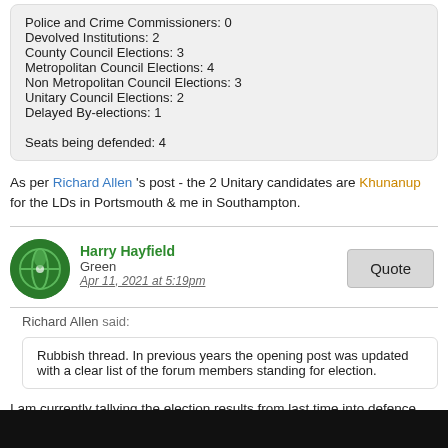Police and Crime Commissioners: 0
Devolved Institutions: 2
County Council Elections: 3
Metropolitan Council Elections: 4
Non Metropolitan Council Elections: 3
Unitary Council Elections: 2
Delayed By-elections: 1

Seats being defended: 4
As per Richard Allen 's post - the 2 Unitary candidates are Khunanup for the LDs in Portsmouth & me in Southampton.
Harry Hayfield
Green
Apr 11, 2021 at 5:19pm
Richard Allen said:
Rubbish thread. In previous years the opening post was updated with a clear list of the forum members standing for election.
I am currently tallying the election results from last time into defence and